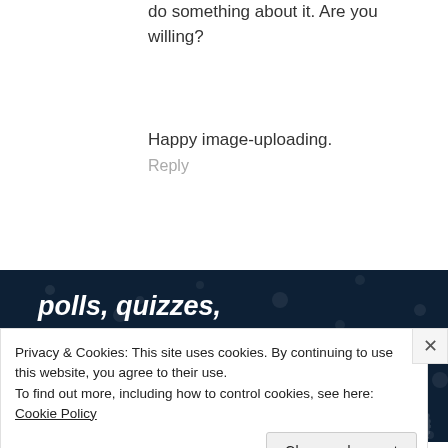do something about it. Are you willing?
Happy image-uploading.
Reply
[Figure (screenshot): Advertisement banner with dark navy background with dots pattern, bold white italic text 'polls, quizzes, and forms.', a pink 'Start now' button, and a Crowd Signal logo in the bottom right corner.]
Privacy & Cookies: This site uses cookies. By continuing to use this website, you agree to their use.
To find out more, including how to control cookies, see here: Cookie Policy
Close and accept